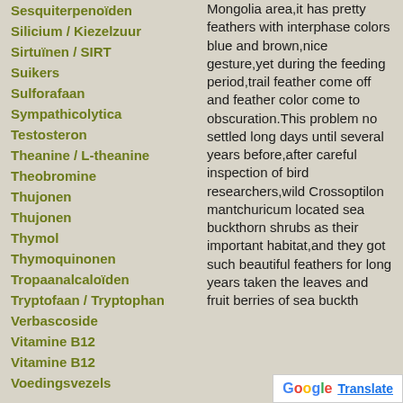Sesquiterpenoïden
Silicium / Kiezelzuur
Sirtuïnen / SIRT
Suikers
Sulforafaan
Sympathicolytica
Testosteron
Theanine / L-theanine
Theobromine
Thujonen
Thujonen
Thymol
Thymoquinonen
Tropaanalcaloïden
Tryptofaan / Tryptophan
Verbascoside
Vitamine B12
Vitamine B12
Voedingsvezels
Mongolia area,it has pretty feathers with interphase colors blue and brown,nice gesture,yet during the feeding period,trail feather come off and feather color come to obscuration.This problem no settled long days until several years before,after careful inspection of bird researchers,wild Crossoptilon mantchuricum located sea buckthorn shrubs as their important habitat,and they got such beautiful feathers for long years taken the leaves and fruit berries of sea buckth